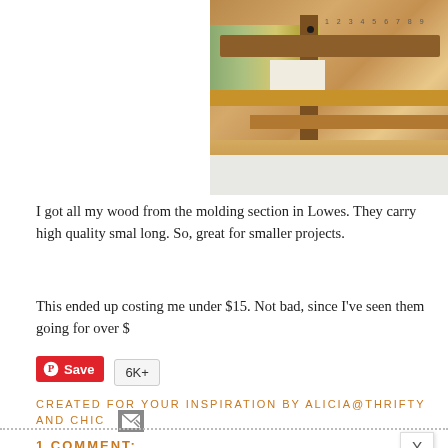[Figure (photo): Wooden shelf/stand made from wood pieces, stacked books in background, ruler markings visible, close-up craft project photo]
I got all my wood from the molding section in Lowes. They carry high quality smal long. So, great for smaller projects.
This ended up costing me under $15. Not bad, since I've seen them going for over $
Save 6K+
CREATED FOR YOUR INSPIRATION BY ALICIA@THRIFTY AND CHIC
1 COMMENT:
[Figure (illustration): Gray geometric hexagon pattern banner/advertisement]